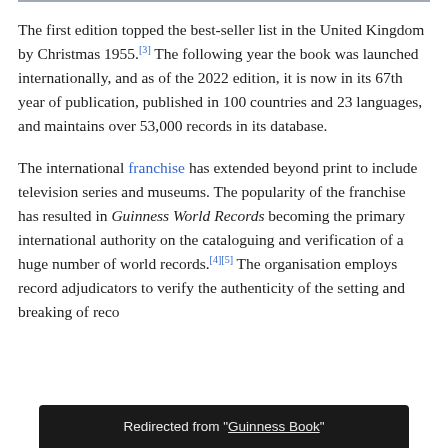The first edition topped the best-seller list in the United Kingdom by Christmas 1955.[3] The following year the book was launched internationally, and as of the 2022 edition, it is now in its 67th year of publication, published in 100 countries and 23 languages, and maintains over 53,000 records in its database.
The international franchise has extended beyond print to include television series and museums. The popularity of the franchise has resulted in Guinness World Records becoming the primary international authority on the cataloguing and verification of a huge number of world records.[4][5] The organisation employs record adjudicators to verify the authenticity of the setting and breaking of records.
Redirected from "Guinness Book"